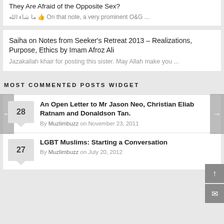They Are Afraid of the Opposite Sex?
ما شاء الله 👍 On that note, a very prominent O&G ...
Saiha on Notes from Seeker's Retreat 2013 – Realizations, Purpose, Ethics by Imam Afroz Ali
Jazakallah khair for posting this sister. May Allah make you ...
MOST COMMENTED POSTS WIDGET
An Open Letter to Mr Jason Neo, Christian Eliab Ratnam and Donaldson Tan.
By Muzlimbuzz on November 23, 2011
LGBT Muslims: Starting a Conversation
By Muzlimbuzz on July 20, 2012